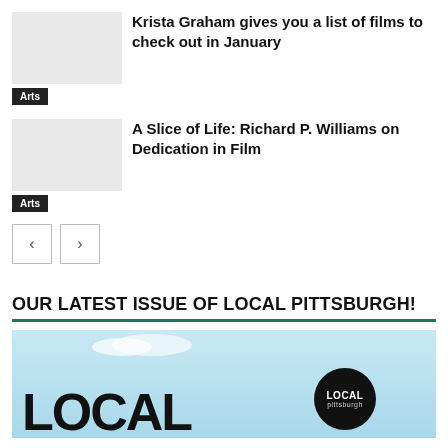Krista Graham gives you a list of films to check out in January
Arts
A Slice of Life: Richard P. Williams on Dedication in Film
Arts
[Figure (other): Pagination navigation buttons: left arrow and right arrow]
OUR LATEST ISSUE OF LOCAL PITTSBURGH!
[Figure (photo): Local Pittsburgh magazine cover showing the word LOCAL in large bold black text, a circular badge with LOCAL Pittsburgh logo, and a city skyline against a blue sky background]